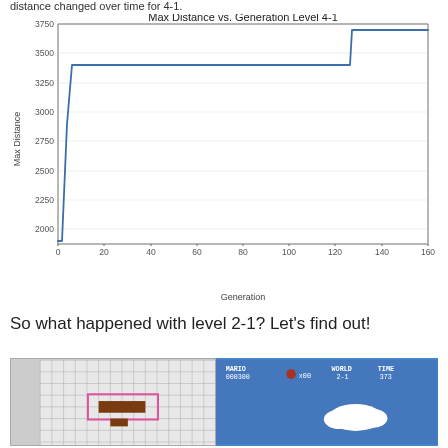distance changed over time for 4-1.
[Figure (line-chart): Line chart showing max distance vs generation for level 4-1. Starts near 1900, rises steeply to ~3400 by generation 5-6, stays flat until ~generation 125 where it jumps to ~3700, then stays flat to generation 160.]
So what happened with level 2-1? Let's find out!
[Figure (screenshot): Two side-by-side screenshots: left shows a grid-based neural network or game state visualization with a pink rectangle overlay and brown block; right shows Mario Bros game screen for World 2-1, score 000300, 3 lives, time 373, with a cloud visible.]